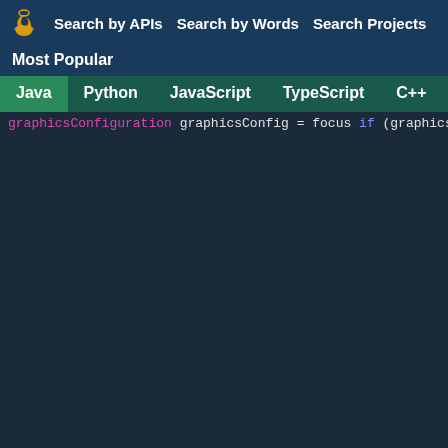Search by APIs   Search by Words   Search Projects
Most Popular
Java  Python  JavaScript  TypeScript  C++  Scala
[Figure (screenshot): Java code snippet showing graphics configuration, bounds, insets, screen coordinates, and a switch statement with VERTICAL case and popup placement comments]